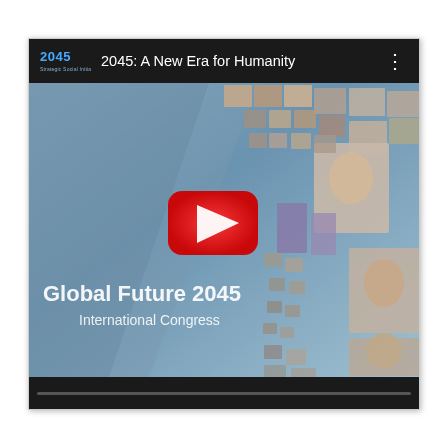[Figure (screenshot): YouTube video embed showing '2045: A New Era for Humanity' with Global Future 2045 International Congress thumbnail. Features a collage of faces spiraling upward on the right, a blue/gray background, and a large red YouTube play button in the center. The video title bar is dark/black with the 2045 logo on the left.]